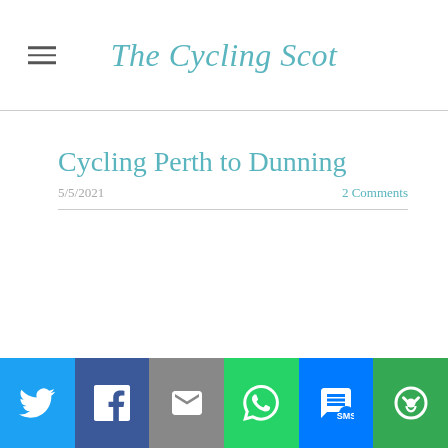The Cycling Scot
Cycling Perth to Dunning
5/5/2021
2 Comments
[Figure (infographic): Social sharing bar with Twitter, Facebook, Email, WhatsApp, SMS, and More buttons]